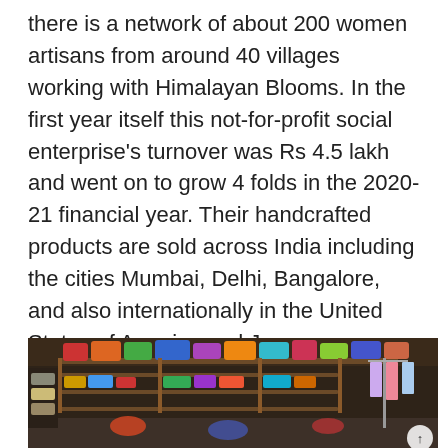there is a network of about 200 women artisans from around 40 villages working with Himalayan Blooms. In the first year itself this not-for-profit social enterprise's turnover was Rs 4.5 lakh and went on to grow 4 folds in the 2020-21 financial year. Their handcrafted products are sold across India including the cities Mumbai, Delhi, Bangalore, and also internationally in the United States of America and Japan.
[Figure (photo): Interior of a craft/textile shop with shelves filled with colorful fabric bags and materials, clothing hanging on a rack on the right, and women working or browsing inside the store.]